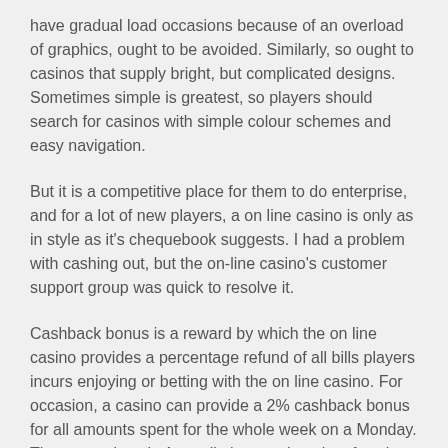have gradual load occasions because of an overload of graphics, ought to be avoided. Similarly, so ought to casinos that supply bright, but complicated designs. Sometimes simple is greatest, so players should search for casinos with simple colour schemes and easy navigation.
But it is a competitive place for them to do enterprise, and for a lot of new players, a on line casino is only as in style as it's chequebook suggests. I had a problem with cashing out, but the on-line casino's customer support group was quick to resolve it.
Cashback bonus is a reward by which the on line casino provides a percentage refund of all bills players incurs enjoying or betting with the on line casino. For occasion, a casino can provide a 2% cashback bonus for all amounts spent for the whole week on a Monday. The top casinos in Australia have quite a lot of casino bonuses for eligible Australian players. The bonus choice has a broad range of applications and might